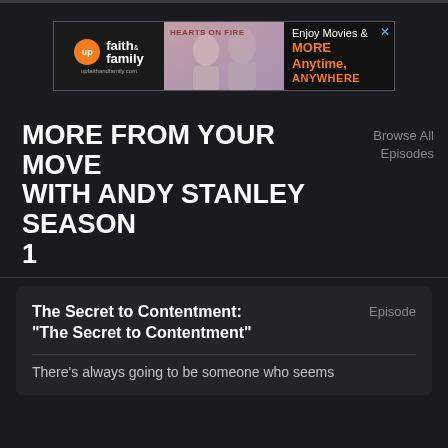[Figure (screenshot): Advertisement banner for UP Faith & Family streaming service featuring 'Hearts on Fire' movie with text 'Enjoy Movies & MORE Anytime, ANYWHERE']
MORE FROM YOUR MOVE WITH ANDY STANLEY SEASON 1
Browse All Episodes
The Secret to Contentment: “The Secret to Contentment”
Episode
There’s always going to be someone who seems